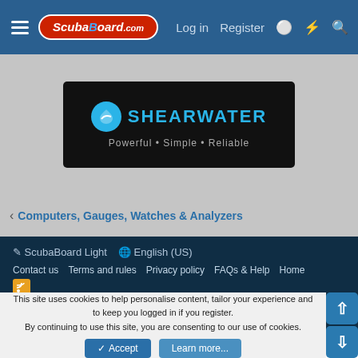ScubaBoard.com — Log in  Register
[Figure (screenshot): Shearwater advertisement banner: black background, blue Shearwater logo and name, tagline 'Powerful • Simple • Reliable']
< Computers, Gauges, Watches & Analyzers
✏ ScubaBoard Light  🌐 English (US)
Contact us  Terms and rules  Privacy policy  FAQs & Help  Home  [RSS icon]
Community platform by XenForo® © 2010-2022 XenForo Ltd.
Copyright © ScubaBoard.com 2000-2022. All rights reserved.
Effective Spam Prevention
This site uses cookies to help personalise content, tailor your experience and to keep you logged in if you register.
By continuing to use this site, you are consenting to our use of cookies.
[Accept] [Learn more...]